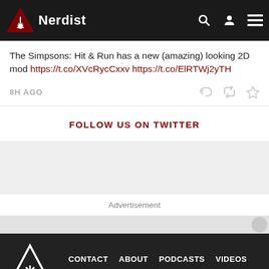Nerdist
The Simpsons: Hit & Run has a new (amazing) looking 2D mod https://t.co/XVcRycCxxv https://t.co/ElRTWj2yTH
8H AGO
FOLLOW US ON TWITTER
Advertisement
CONTACT  ABOUT  PODCASTS  VIDEOS  PRIVACY POLICY